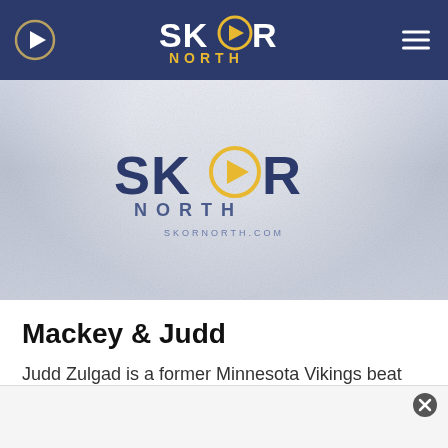[Figure (logo): SKOR North navigation header with play button icon on left, SKOR NORTH logo in center, hamburger menu on right, dark blue background]
[Figure (logo): SKOR North logo on light gray textured background with SKORNORTH.COM text below]
Mackey & Judd
Judd Zulgad is a former Minnesota Vikings beat writer, lifetime beer connoisseur and part-time sports